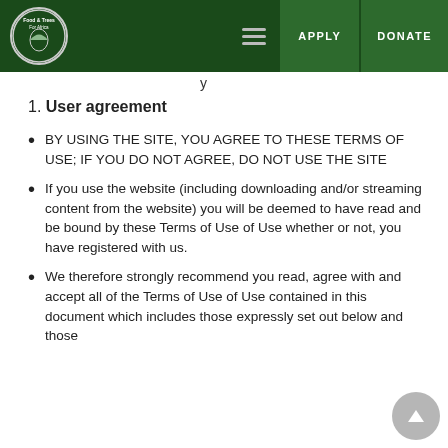Food & Trees For Africa — Navigation: APPLY | DONATE
y
1. User agreement
BY USING THE SITE, YOU AGREE TO THESE TERMS OF USE; IF YOU DO NOT AGREE, DO NOT USE THE SITE
If you use the website (including downloading and/or streaming content from the website) you will be deemed to have read and be bound by these Terms of Use of Use whether or not, you have registered with us.
We therefore strongly recommend you read, agree with and accept all of the Terms of Use of Use contained in this document which includes those expressly set out below and those